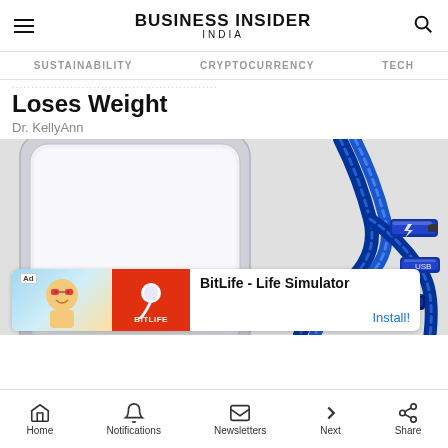BUSINESS INSIDER INDIA
SUSTAINABILITY   CRYPTOCURRENCY   TECH
Loses Weight
Dr. KellyAnn
[Figure (photo): A smartphone with blue braided multi-connector USB cables against a light grey background]
[Figure (other): Ad banner: BitLife - Life Simulator with Install! button]